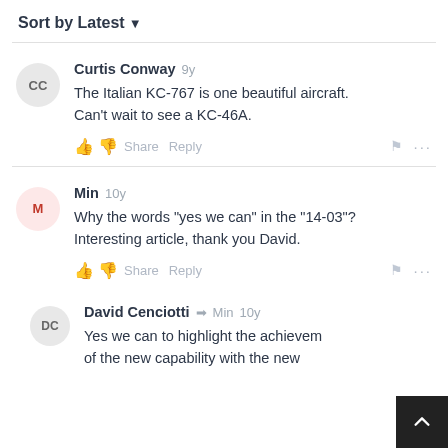Sort by Latest ▾
Curtis Conway 9y
The Italian KC-767 is one beautiful aircraft. Can't wait to see a KC-46A.
Min 10y
Why the words "yes we can" in the "14-03"?
Interesting article, thank you David.
David Cenciotti → Min 10y
Yes we can to highlight the achievem of the new capability with the new